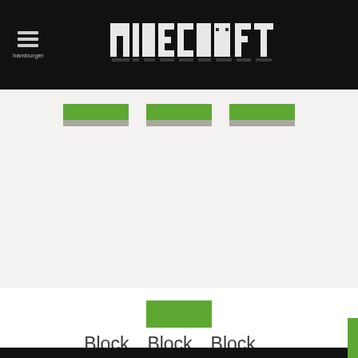hamburger  MINECRAFT
[Figure (screenshot): Three green Minecraft-style buttons with gray shadow in a light gray content area]
[Figure (screenshot): Green loading block rectangle centered on white background]
Block...Block...Block...